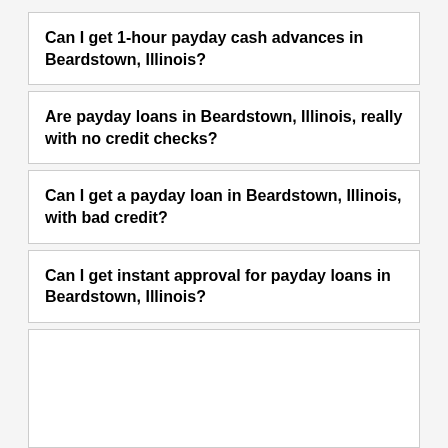Can I get 1-hour payday cash advances in Beardstown, Illinois?
Are payday loans in Beardstown, Illinois, really with no credit checks?
Can I get a payday loan in Beardstown, Illinois, with bad credit?
Can I get instant approval for payday loans in Beardstown, Illinois?
Can I get...